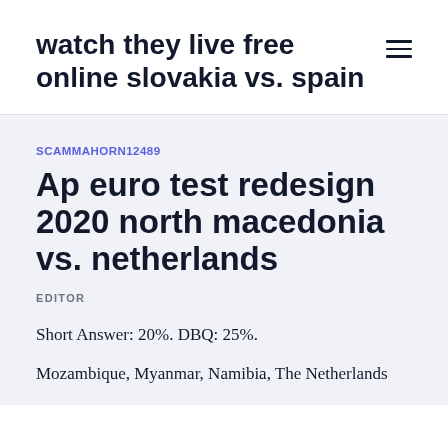watch they live free online slovakia vs. spain
SCAMMAHORN12489
Ap euro test redesign 2020 north macedonia vs. netherlands
EDITOR
Short Answer: 20%. DBQ: 25%.
Mozambique, Myanmar, Namibia, The Netherlands